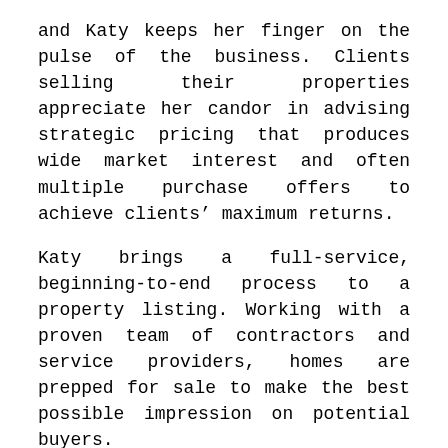and Katy keeps her finger on the pulse of the business. Clients selling their properties appreciate her candor in advising strategic pricing that produces wide market interest and often multiple purchase offers to achieve clients' maximum returns.
Katy brings a full-service, beginning-to-end process to a property listing. Working with a proven team of contractors and service providers, homes are prepped for sale to make the best possible impression on potential buyers.
Katy's participation in the "Top Agency Network" (TAN) adds another resource to her professional services. TAN brings together the top 10 percent of real estate sales producers in Santa Clara and San Mateo Counties in an online network that shares "early alerts" of property listings. These include high-end, "off-market" (private sale) properties, ensuring that her client listings gain